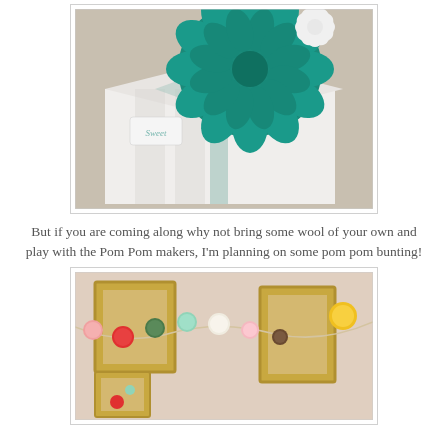[Figure (photo): A white gift box decorated with teal/green felt flower on top, with a ribbon and a small tag that reads 'Sweet'.]
But if you are coming along why not bring some wool of your own and play with the Pom Pom makers, I'm planning on some pom pom bunting!
[Figure (photo): A colorful pom pom garland/bunting strung across a room with gold picture frames in the background. Pom poms in pink, red, green, mint, white, and yellow colors.]